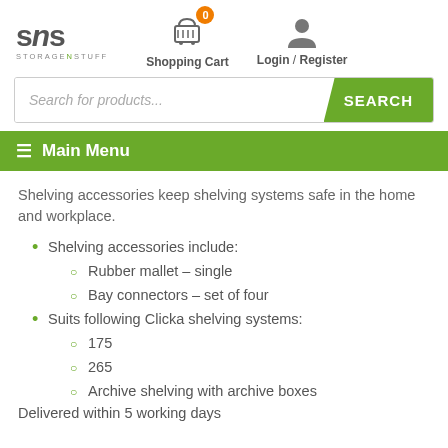[Figure (logo): SNS StorageNStuff logo with green N letter]
[Figure (infographic): Shopping cart icon with orange badge showing 0, labeled Shopping Cart]
[Figure (infographic): User/person icon labeled Login / Register]
[Figure (screenshot): Search bar with placeholder 'Search for products...' and green SEARCH button]
≡ Main Menu
Shelving accessories keep shelving systems safe in the home and workplace.
Shelving accessories include:
Rubber mallet – single
Bay connectors – set of four
Suits following Clicka shelving systems:
175
265
Archive shelving with archive boxes
Delivered within 5 working days